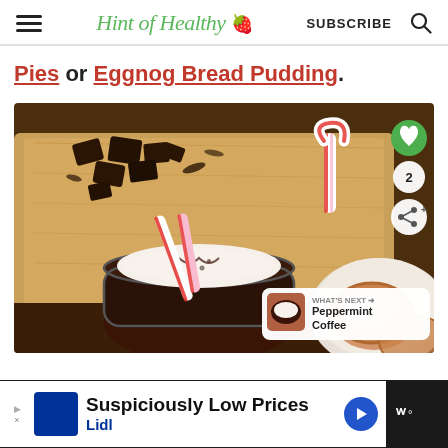Hint of Healthy 🍓  SUBSCRIBE  🔍
Pies or Eggnog Bread Pudding.
[Figure (photo): Overhead photo on a wooden board with chunks of dark chocolate and candy canes. In the foreground, a glass mug of hot chocolate topped with whipped cream, chocolate shavings, and a candy cane. To the right, a plate with small round pastry pies dusted with powdered sugar. Overlay icons include a green heart button, a count badge showing '2', and a share button. A 'What's Next: Peppermint Coffee' preview card is in the bottom right corner.]
WHAT'S NEXT → Peppermint Coffee
Suspiciously Low Prices
Lidl